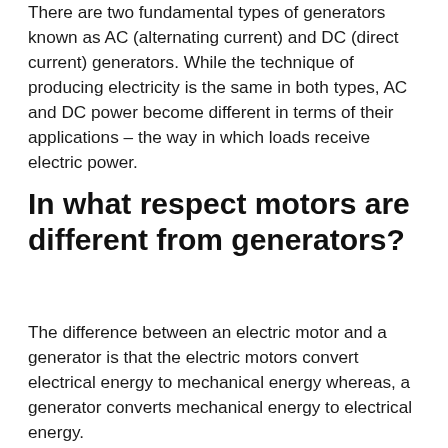There are two fundamental types of generators known as AC (alternating current) and DC (direct current) generators. While the technique of producing electricity is the same in both types, AC and DC power become different in terms of their applications – the way in which loads receive electric power.
In what respect motors are different from generators?
The difference between an electric motor and a generator is that the electric motors convert electrical energy to mechanical energy whereas, a generator converts mechanical energy to electrical energy.